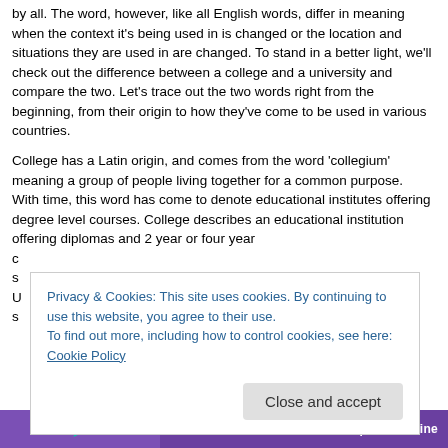by all. The word, however, like all English words, differ in meaning when the context it's being used in is changed or the location and situations they are used in are changed. To stand in a better light, we'll check out the difference between a college and a university and compare the two. Let's trace out the two words right from the beginning, from their origin to how they've come to be used in various countries.
College has a Latin origin, and comes from the word 'collegium' meaning a group of people living together for a common purpose.  With time, this word has come to denote educational institutes offering degree level courses. College describes an educational institution offering diplomas and 2 year or four year c... s... U... s...
Privacy & Cookies: This site uses cookies. By continuing to use this website, you agree to their use.
To find out more, including how to control cookies, see here: Cookie Policy
Close and accept
[Figure (other): Purple advertisement banner at the bottom with arrow icon and text 'subscriptions online']